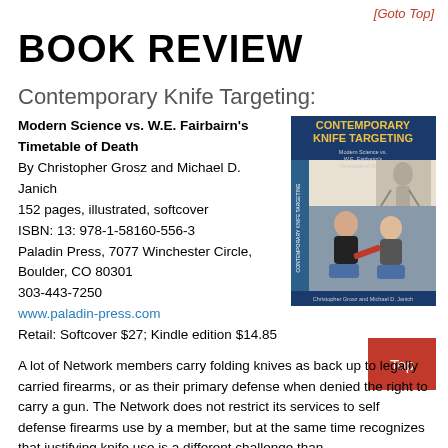[Goto Top]
BOOK REVIEW
Contemporary Knife Targeting:
Modern Science vs. W.E. Fairbairn's Timetable of Death
By Christopher Grosz and Michael D. Janich
152 pages, illustrated, softcover
ISBN: 13: 978-1-58160-556-3
Paladin Press, 7077 Winchester Circle, Boulder, CO 80301
303-443-7250
www.paladin-press.com
Retail: Softcover $27; Kindle edition $14.85
[Figure (photo): Book cover of Contemporary Knife Targeting showing two men in a self-defense demonstration with a knife, and the book title text overlay.]
A lot of Network members carry folding knives as back up to legally carried firearms, or as their primary defense when denied the right to carry a gun. The Network does not restrict its services to self defense firearms use by a member, but at the same time recognizes that justifying knife use is a different challenge than